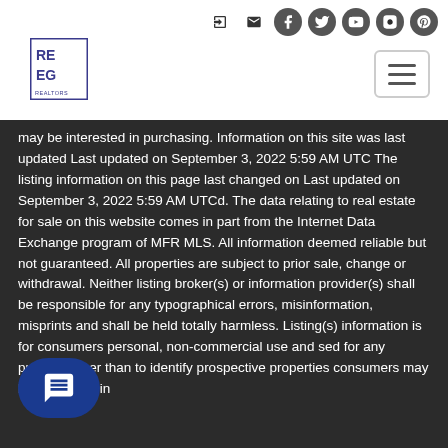[Figure (logo): REEG logo - blue square with letters RE EG]
may be interested in purchasing. Information on this site was last updated Last updated on September 3, 2022 5:59 AM UTC The listing information on this page last changed on Last updated on September 3, 2022 5:59 AM UTCd. The data relating to real estate for sale on this website comes in part from the Internet Data Exchange program of MFR MLS. All information deemed reliable but not guaranteed. All properties are subject to prior sale, change or withdrawal. Neither listing broker(s) or information provider(s) shall be responsible for any typographical errors, misinformation, misprints and shall be held totally harmless. Listing(s) information is for consumers personal, non-commercial use and may not be used for any purpose other than to identify prospective properties consumers may be interested in